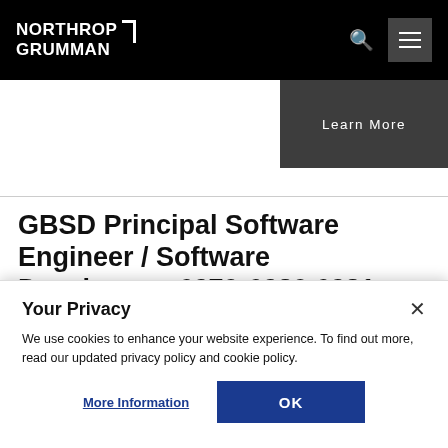NORTHROP GRUMMAN
Learn More
GBSD Principal Software Engineer / Software Developer – 6279-6280,6281
Your Privacy
We use cookies to enhance your website experience. To find out more, read our updated privacy policy and cookie policy.
More Information  OK